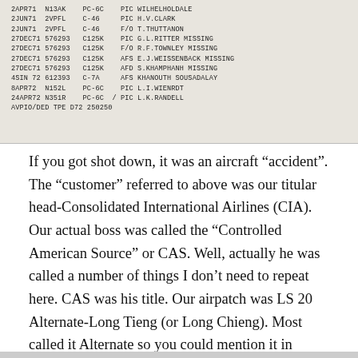[Figure (table-as-image): Scanned document image showing a table of flight records with columns for date, aircraft ID, aircraft type, crew role, and crew name. Entries include dates like 2JUN71, 27DEC71, 4SIN72, 8APR72, 24APR72 with aircraft types C-46, C125K, C-7A, PC-6C and crew roles PIC, F/O, AFS, AFD. Last line reads AVPIO/DED TPE D72 250250.]
If you got shot down, it was an aircraft “accident”. The “customer” referred to above was our titular head-Consolidated International Airlines (CIA). Our actual boss was called the “Controlled American Source” or CAS. Well, actually he was called a number of things I don’t need to repeat here. CAS was his title. Our airpatch was LS 20 Alternate-Long Tieng (or Long Chieng). Most called it Alternate so you could mention it in mixed company down country without divulging the location over the fence.